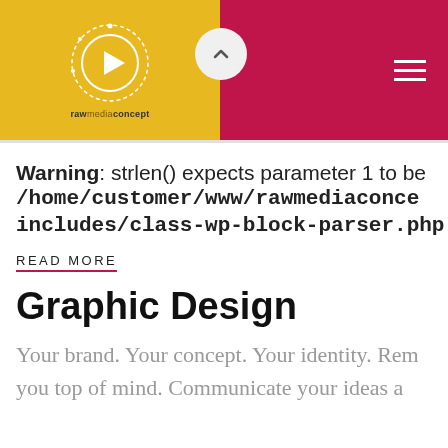[Figure (logo): rawmediaconcept logo with yellow and pink header bar, play button circle icon, chevron up button, and hamburger menu]
Warning: strlen() expects parameter 1 to be /home/customer/www/rawmediaconce... includes/class-wp-block-parser.php on ...
READ MORE
Graphic Design
Your brand. Your concept. Your identity. Rem... you top of mind. Communicate your ideas a...